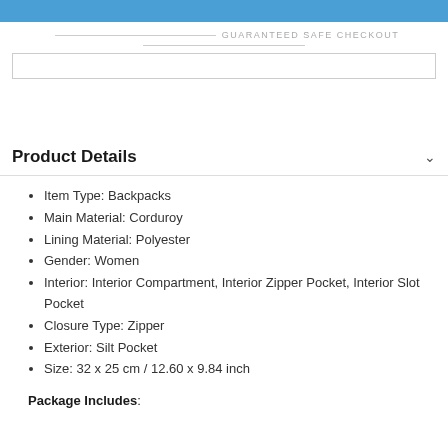[Figure (other): Blue button bar at the top of the page]
GUARANTEED SAFE CHECKOUT
[Figure (other): Safe checkout logos/icons box]
Product Details
Item Type: Backpacks
Main Material: Corduroy
Lining Material: Polyester
Gender: Women
Interior: Interior Compartment, Interior Zipper Pocket, Interior Slot Pocket
Closure Type: Zipper
Exterior: Silt Pocket
Size: 32 x 25 cm / 12.60 x 9.84 inch
Package Includes: